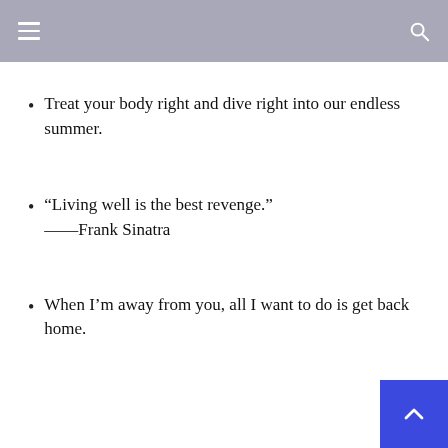Treat your body right and dive right into our endless summer.
“Living well is the best revenge.” ——Frank Sinatra
When I’m away from you, all I want to do is get back home.